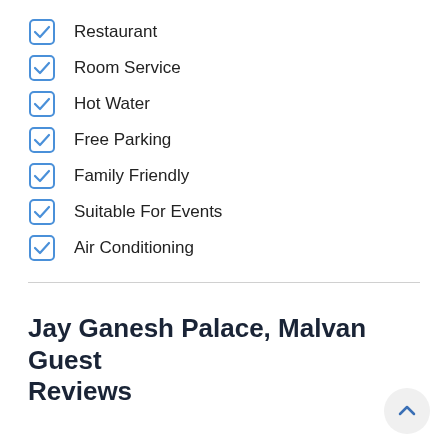Restaurant
Room Service
Hot Water
Free Parking
Family Friendly
Suitable For Events
Air Conditioning
Jay Ganesh Palace, Malvan Guest Reviews